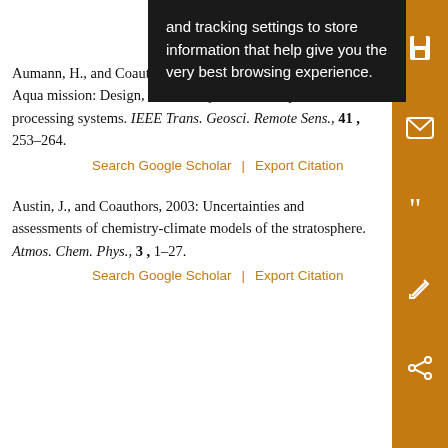Pagano... algorithm... art 1: Infra... at http://e... ient
and tracking settings to store information that help give you the very best browsing experience.
Aumann, H., and Coauthors, 2003: AIRS/AMSU/HSB on the Aqua mission: Design, science objectives, data products, and processing systems. IEEE Trans. Geosci. Remote Sens., 41 , 253–264.
Search Google Scholar | Export Citation
Austin, J., and Coauthors, 2003: Uncertainties and assessments of chemistry-climate models of the stratosphere. Atmos. Chem. Phys., 3 , 1–27.
Search Google Scholar | Export Citation